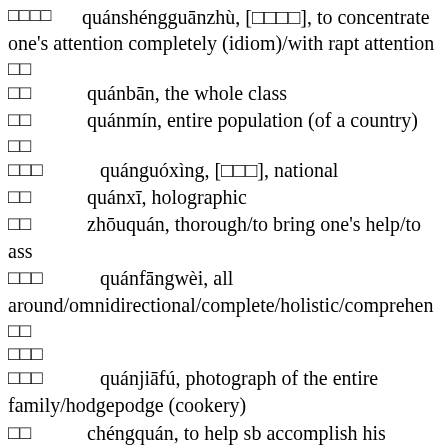quánshéngguānzhù, [□□□□], to concentrate one's attention completely (idiom)/with rapt attention
□□
□□   quánbān, the whole class
□□   quánmín, entire population (of a country)
□□
□□□   quánguóxìng, [□□□], national
□□   quánxī, holographic
□□   zhōuquán, thorough/to bring one's help/to ass
□□□   quánfāngwèi, all around/omnidirectional/complete/holistic/comprehen
□□
□□□
□□□   quánjiāfú, photograph of the entire family/hodgepodge (cookery)
□□   chéngquán, to help sb accomplish his aim/to help sb succeed/to complete/to make whole/to ro...